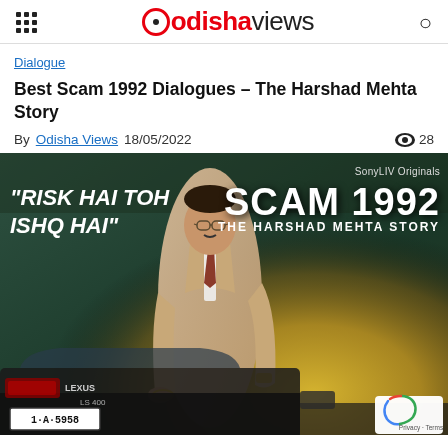odishaviews
Dialogue
Best Scam 1992 Dialogues – The Harshad Mehta Story
By Odisha Views  18/05/2022  👁 28
[Figure (photo): Promotional poster for Scam 1992 - The Harshad Mehta Story on SonyLIV Originals. Shows main actor leaning against a Lexus LS400 car in a beige suit. Text reads: "RISK HAI TOH ISHQ HAI" on the left, and SCAM 1992 THE HARSHAD MEHTA STORY on the right. License plate reads 1-A-5958.]